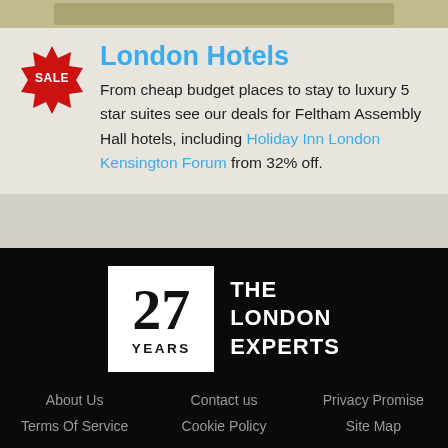[Figure (photo): Top banner image, partially visible, olive/tan colored background strip]
London Hotels
From cheap budget places to stay to luxury 5 star suites see our deals for Feltham Assembly Hall hotels, including Holiday Inn London Kensington Forum from 32% off.
[Figure (logo): 27 YEARS THE LONDON EXPERTS logo - white box with large '27' and 'YEARS' text, beside white text 'THE LONDON EXPERTS' on black background]
About Us   Contact us   Privacy Promise   Terms Of Service   Cookie Policy   Site Map